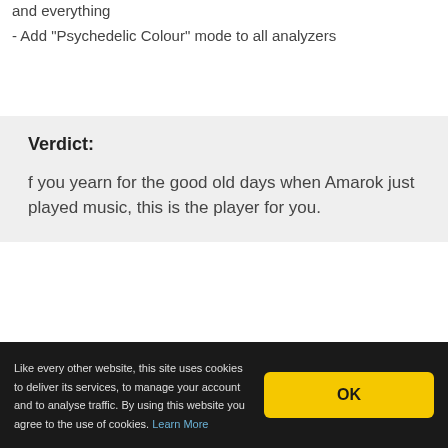and everything
- Add "Psychedelic Colour" mode to all analyzers
Verdict:
f you yearn for the good old days when Amarok just played music, this is the player for you.
Like every other website, this site uses cookies to deliver its services, to manage your account and to analyse traffic. By using this website you agree to the use of cookies. Learn More